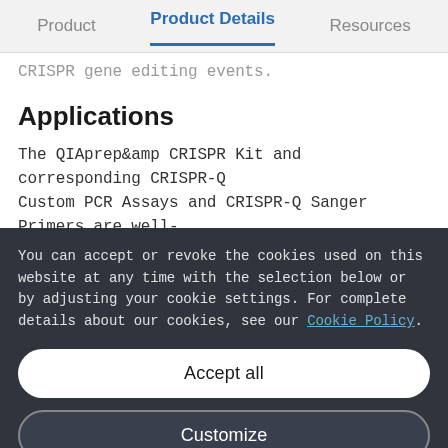Product | Product Details | Resources
CRISPR gene editing events.
Applications
The QIAprep&amp CRISPR Kit and corresponding CRISPR-Q Custom PCR Assays and CRISPR-Q Sanger Primers are well-
You can accept or revoke the cookies used on this website at any time with the selection below or by adjusting your cookie settings. For complete details about our cookies, see our Cookie Policy.
Accept all
Customize
Only necessary